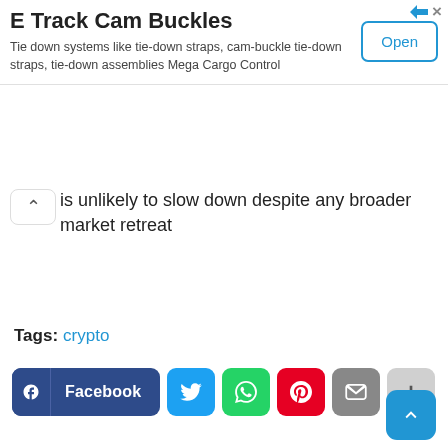[Figure (other): Advertisement banner for E Track Cam Buckles with Open button]
is unlikely to slow down despite any broader market retreat
Tags: crypto
[Figure (other): Social share buttons: Facebook, Twitter, WhatsApp, Pinterest, Email, More, and scroll-to-top button]